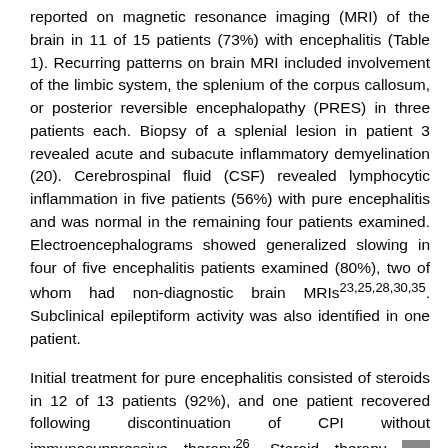reported on magnetic resonance imaging (MRI) of the brain in 11 of 15 patients (73%) with encephalitis (Table 1). Recurring patterns on brain MRI included involvement of the limbic system, the splenium of the corpus callosum, or posterior reversible encephalopathy (PRES) in three patients each. Biopsy of a splenial lesion in patient 3 revealed acute and subacute inflammatory demyelination (20). Cerebrospinal fluid (CSF) revealed lymphocytic inflammation in five patients (56%) with pure encephalitis and was normal in the remaining four patients examined. Electroencephalograms showed generalized slowing in four of five encephalitis patients examined (80%), two of whom had non-diagnostic brain MRIs23,25,28,30,35. Subclinical epileptiform activity was also identified in one patient.
Initial treatment for pure encephalitis consisted of steroids in 12 of 13 patients (92%), and one patient recovered following discontinuation of CPI without immunosuppressive therapy26. Steroid therapy was typically intravenous and referred to as “high dose” in 10 of 12 pure encephalitis patients. The maximum steroid dose